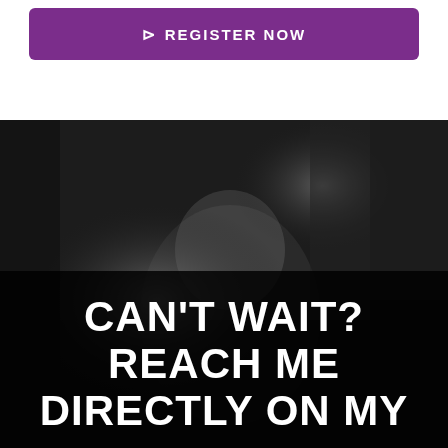[Figure (illustration): Purple 'REGISTER NOW' button with play arrow icon on white background]
[Figure (photo): Black and white photo of a man with head bowed, dark blurred background. Overlaid with black semi-transparent box containing bold white uppercase text: CAN'T WAIT? REACH ME DIRECTLY ON MY]
CAN'T WAIT? REACH ME DIRECTLY ON MY